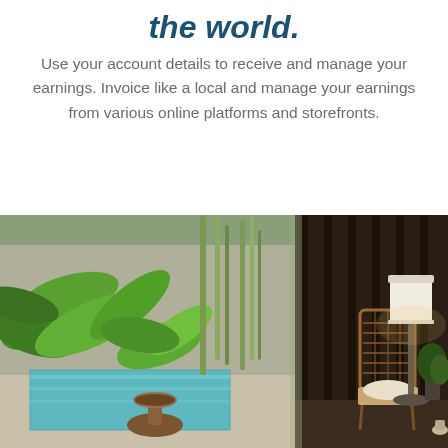the world.
Use your account details to receive and manage your earnings. Invoice like a local and manage your earnings from various online platforms and storefronts.
[Figure (photo): Tropical villa or resort scene showing a lush green garden with large tropical plants, a small rectangular pool with teal water on the left side, and an interior room visible on the right with rattan/wicker furniture (a chair and footstool), a white drum lamp shade on a floor lamp, dark wooden curtains/panels, and a small plant in the corner. The scene is split between an outdoor garden/pool area and an indoor lounge area.]